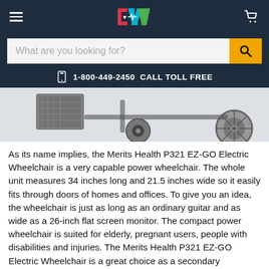[Figure (screenshot): Website header with hamburger menu, colorful CYV logo, and cart icon on dark navy background]
[Figure (screenshot): Search bar with placeholder text 'What are you looking for?' and orange search button]
1-800-449-2450  CALL TOLL FREE
[Figure (photo): Partial photo of Merits Health P321 EZ-GO Electric Wheelchair showing wheels and footrest against white background]
As its name implies, the Merits Health P321 EZ-GO Electric Wheelchair is a very capable power wheelchair. The whole unit measures 34 inches long and 21.5 inches wide so it easily fits through doors of homes and offices. To give you an idea, the wheelchair is just as long as an ordinary guitar and as wide as a 26-inch flat screen monitor. The compact power wheelchair is suited for elderly, pregnant users, people with disabilities and injuries. The Merits Health P321 EZ-GO Electric Wheelchair is a great choice as a secondary wheelchair for travel and when you